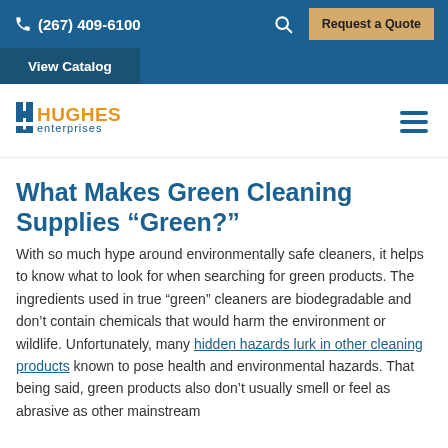(267) 409-6100   Request a Quote   View Catalog
[Figure (logo): Hughes Enterprises logo with stylized H icon in blue and orange, with 'HUGHES' in orange and 'enterprises' in blue text]
What Makes Green Cleaning Supplies “Green?”
With so much hype around environmentally safe cleaners, it helps to know what to look for when searching for green products. The ingredients used in true “green” cleaners are biodegradable and don’t contain chemicals that would harm the environment or wildlife. Unfortunately, many hidden hazards lurk in other cleaning products known to pose health and environmental hazards. That being said, green products also don’t usually smell or feel as abrasive as other mainstream